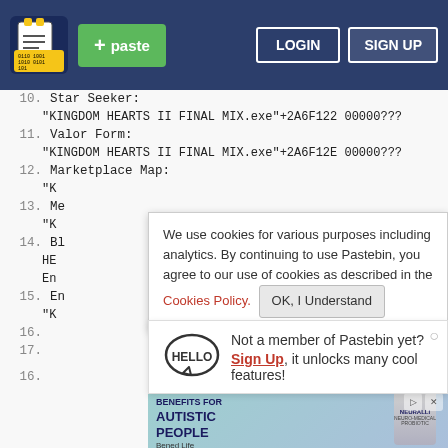[Figure (screenshot): Pastebin website navbar with logo, green paste button, LOGIN and SIGN UP buttons on dark blue background]
10.	Star Seeker:
	"KINGDOM HEARTS II FINAL MIX.exe"+2A6F122 00000???
11.	Valor Form:
	"KINGDOM HEARTS II FINAL MIX.exe"+2A6F12E 00000???
12.	Marketplace Map:
	"K...
13.	Me...
	"K...
14.	Bl...
	HE...
	En...
15.	En...
	"K...
16.	...000???
17.
We use cookies for various purposes including analytics. By continuing to use Pastebin, you agree to our use of cookies as described in the Cookies Policy.  OK, I Understand
Not a member of Pastebin yet? Sign Up, it unlocks many cool features!
[Figure (infographic): Advertisement for Neuralli product: NEUROLOGICAL BENEFITS FOR AUTISTIC PEOPLE - Bened Life, with product bottle image]